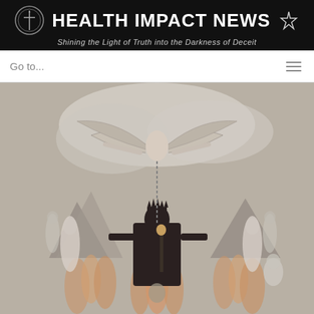HEALTH IMPACT NEWS — Shining the Light of Truth into the Darkness of Deceit
Go to...
[Figure (illustration): William Blake-style illustration showing a dark demonic figure seated on a throne wearing a crown and holding a scepter, surrounded by flames and smaller figures. Above, a winged figure with outstretched arms descends from clouds. The scene is rendered in pencil and watercolor with gray, brown, and amber tones.]